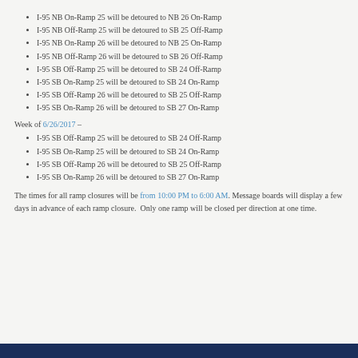I-95 NB On-Ramp 25 will be detoured to NB 26 On-Ramp
I-95 NB Off-Ramp 25 will be detoured to SB 25 Off-Ramp
I-95 NB On-Ramp 26 will be detoured to NB 25 On-Ramp
I-95 NB Off-Ramp 26 will be detoured to SB 26 Off-Ramp
I-95 SB Off-Ramp 25 will be detoured to SB 24 Off-Ramp
I-95 SB On-Ramp 25 will be detoured to SB 24 On-Ramp
I-95 SB Off-Ramp 26 will be detoured to SB 25 Off-Ramp
I-95 SB On-Ramp 26 will be detoured to SB 27 On-Ramp
Week of 6/26/2017 –
I-95 SB Off-Ramp 25 will be detoured to SB 24 Off-Ramp
I-95 SB On-Ramp 25 will be detoured to SB 24 On-Ramp
I-95 SB Off-Ramp 26 will be detoured to SB 25 Off-Ramp
I-95 SB On-Ramp 26 will be detoured to SB 27 On-Ramp
The times for all ramp closures will be from 10:00 PM to 6:00 AM. Message boards will display a few days in advance of each ramp closure.  Only one ramp will be closed per direction at one time.